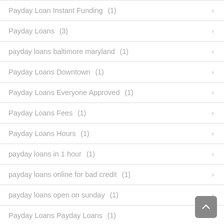Payday Loan Instant Funding (1)
Payday Loans (3)
payday loans baltimore maryland (1)
Payday Loans Downtown (1)
Payday Loans Everyone Approved (1)
Payday Loans Fees (1)
Payday Loans Hours (1)
payday loans in 1 hour (1)
payday loans online for bad credit (1)
payday loans open on sunday (1)
Payday Loans Payday Loans (1)
payday one online (1)